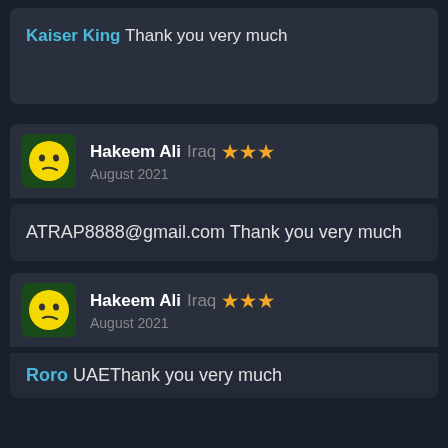Kaiser King Thank you very much
Hakeem Ali Iraq ★★★ August 2021
ATRAP8888@gmail.com Thank you very much
Hakeem Ali Iraq ★★★ August 2021
Roro UAEThank you very much